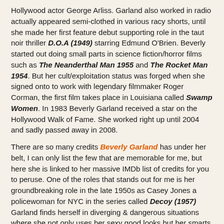Hollywood actor George Arliss. Garland also worked in radio actually appeared semi-clothed in various racy shorts, until she made her first feature debut supporting role in the taut noir thriller D.O.A (1949) starring Edmund O'Brien. Beverly started out doing small parts in science fiction/horror films such as The Neanderthal Man 1955 and The Rocket Man 1954. But her cult/exploitation status was forged when she signed onto to work with legendary filmmaker Roger Corman, the first film takes place in Louisiana called Swamp Women. In 1983 Beverly Garland received a star on the Hollywood Walk of Fame. She worked right up until 2004 and sadly passed away in 2008.
There are so many credits Beverly Garland has under her belt, I can only list the few that are memorable for me, but here she is linked to her massive IMDb list of credits for you to peruse. One of the roles that stands out for me is her groundbreaking role in the late 1950s as Casey Jones a policewoman for NYC in the series called Decoy (1957) Garland finds herself in diverging & dangerous situations where she not only uses her sexy good looks but her smarts and her instincts to trap criminals from all walks of life. It's a fabulous show and it shows not only how diverse Beverly Garland is but the show was a historical first for a woman starring in a dramatic television series.
Beverly Garland has performed in drama's including a musical with Frank Sinatra directed by Charles Vidor The Joker is Wild (1957) Film Noir (The